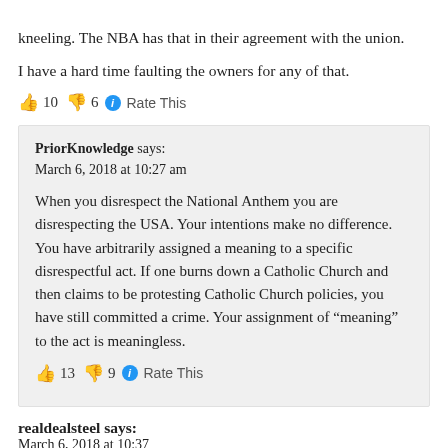kneeling. The NBA has that in their agreement with the union.

I have a hard time faulting the owners for any of that.
👍 10 👎 6 ℹ Rate This
PriorKnowledge says:
March 6, 2018 at 10:27 am

When you disrespect the National Anthem you are disrespecting the USA. Your intentions make no difference. You have arbitrarily assigned a meaning to a specific disrespectful act. If one burns down a Catholic Church and then claims to be protesting Catholic Church policies, you have still committed a crime. Your assignment of "meaning" to the act is meaningless.

👍 13 👎 9 ℹ Rate This
realdealsteel says:
March 6, 2018 at 10:37